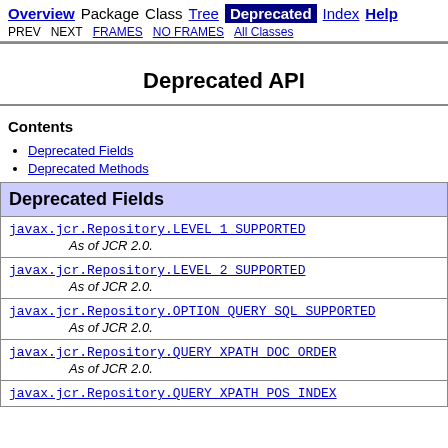Overview  Package  Class  Tree  Deprecated  Index  Help  PREV  NEXT  FRAMES  NO FRAMES  All Classes
Deprecated API
Contents
Deprecated Fields
Deprecated Methods
| Deprecated Fields |
| --- |
| javax.jcr.Repository.LEVEL_1_SUPPORTED
As of JCR 2.0. |
| javax.jcr.Repository.LEVEL_2_SUPPORTED
As of JCR 2.0. |
| javax.jcr.Repository.OPTION_QUERY_SQL_SUPPORTED
As of JCR 2.0. |
| javax.jcr.Repository.QUERY_XPATH_DOC_ORDER
As of JCR 2.0. |
| javax.jcr.Repository.QUERY_XPATH_POS_INDEX |